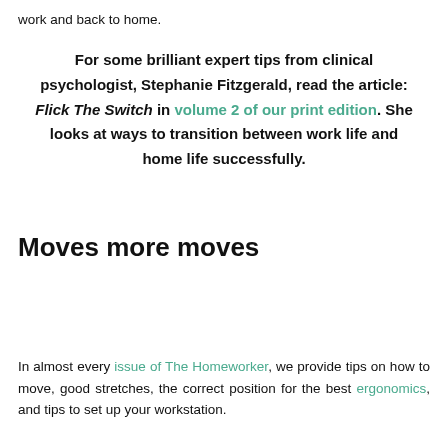work and back to home.
For some brilliant expert tips from clinical psychologist, Stephanie Fitzgerald, read the article: Flick The Switch in volume 2 of our print edition. She looks at ways to transition between work life and home life successfully.
Moves more moves
In almost every issue of The Homeworker, we provide tips on how to move, good stretches, the correct position for the best ergonomics, and tips to set up your workstation.